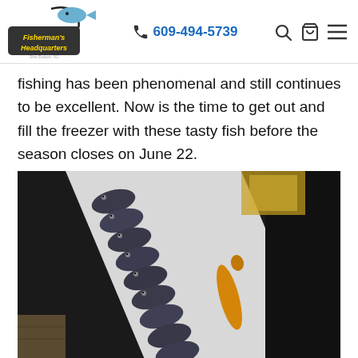Fisherman's Headquarters | 609-494-5739
fishing has been phenomenal and still continues to be excellent. Now is the time to get out and fill the freezer with these tasty fish before the season closes on June 22.
[Figure (photo): A cooler or box filled with many dark-colored fish (black sea bass) lined up in a row, with one orange/golden fish alongside them, on what appears to be a boat dock.]